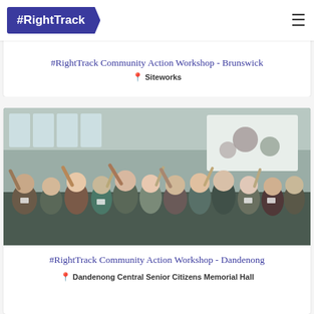#RightTrack
#RightTrack Community Action Workshop - Brunswick
Siteworks
[Figure (photo): Group photo of workshop attendees waving hands in a community hall with a projection screen visible]
#RightTrack Community Action Workshop - Dandenong
Dandenong Central Senior Citizens Memorial Hall